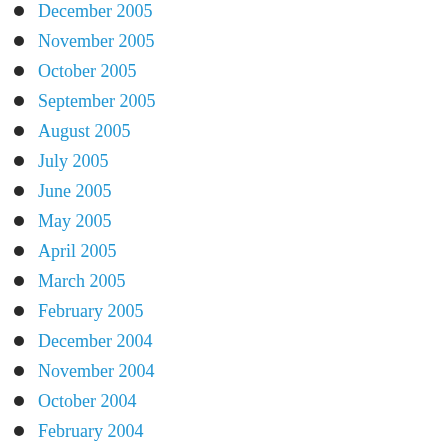December 2005
November 2005
October 2005
September 2005
August 2005
July 2005
June 2005
May 2005
April 2005
March 2005
February 2005
December 2004
November 2004
October 2004
February 2004
August 2003